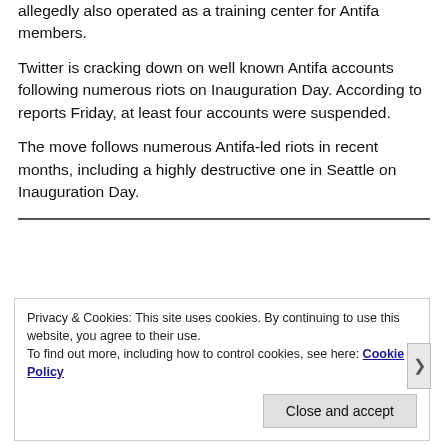allegedly also operated as a training center for Antifa members.
Twitter is cracking down on well known Antifa accounts following numerous riots on Inauguration Day. According to reports Friday, at least four accounts were suspended.
The move follows numerous Antifa-led riots in recent months, including a highly destructive one in Seattle on Inauguration Day.
Privacy & Cookies: This site uses cookies. By continuing to use this website, you agree to their use.
To find out more, including how to control cookies, see here: Cookie Policy
Close and accept